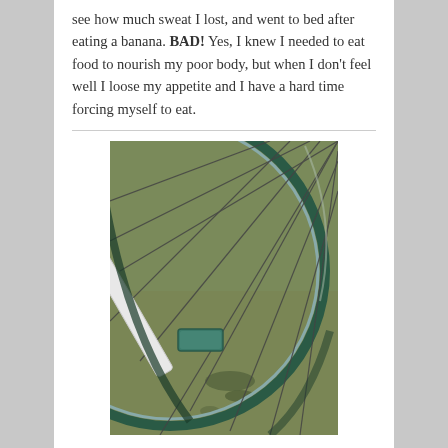see how much sweat I lost, and went to bed after eating a banana. BAD! Yes, I knew I needed to eat food to nourish my poor body, but when I don't feel well I loose my appetite and I have a hard time forcing myself to eat.
[Figure (photo): Close-up photo of a bicycle wheel resting on carpet/floor, showing spokes, rim, and a small green rectangular object attached at the bottom of the wheel. The floor has a greenish-brown carpet texture with some dark spots visible.]